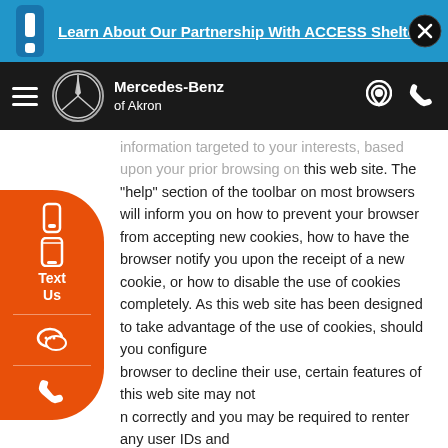Learn About Our Partnership With ACCESS Shelter
[Figure (screenshot): Mercedes-Benz of Akron navigation bar with hamburger menu, logo, brand name, location pin and phone icons on dark background]
information targeted to your interests, based upon your prior browsing on this web site. The "help" section of the toolbar on most browsers will inform you on how to prevent your browser from accepting new cookies, how to have the browser notify you upon the receipt of a new cookie, or how to disable the use of cookies completely. As this web site has been designed to take advantage of the use of cookies, should you configure your browser to decline their use, certain features of this web site may not function correctly and you may be required to renter any user IDs and passwords more frequently.
Personal Information Voluntarily Provided:
The personal information you provide to us (i.e. name, e-mail address, etc.) when you enroll in one of our E-Mail Reminder Services, request information, or use any of the other interactive portions of this web site